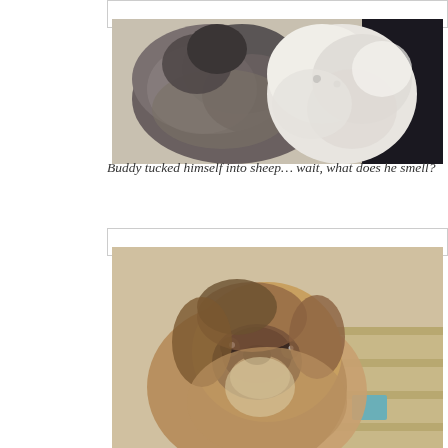[Figure (photo): A fluffy dog (Buddy) nestled among stuffed animal toys including a white sheep/bear plush toy. The dog has grey and brown fur, and the stuffed animals are white and dark colored.]
Buddy tucked himself into sheep… wait, what does he smell?
[Figure (photo): A Shih Tzu dog with brown, tan, and black facial fur looking upward with big eyes. The dog has a flat face typical of the breed. In the background there is a striped cushion/mattress with a blue tag.]